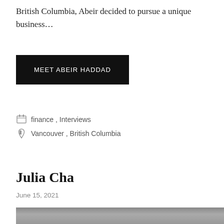British Columbia, Abeir decided to pursue a unique business…
MEET ABEIR HADDAD
finance , Interviews
Vancouver , British Columbia
Julia Cha
June 15, 2021
[Figure (photo): Partial photo of Julia Cha, cropped at bottom of page]